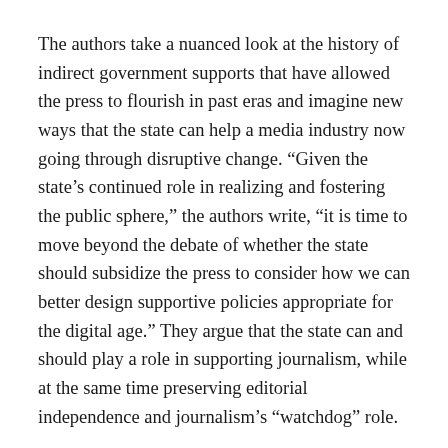The authors take a nuanced look at the history of indirect government supports that have allowed the press to flourish in past eras and imagine new ways that the state can help a media industry now going through disruptive change. “Given the state’s continued role in realizing and fostering the public sphere,” the authors write, “it is time to move beyond the debate of whether the state should subsidize the press to consider how we can better design supportive policies appropriate for the digital age.” They argue that the state can and should play a role in supporting journalism, while at the same time preserving editorial independence and journalism’s “watchdog” role.
The scholars propose: making more information and data available for the press, in effect providing a “subsidy” by furnishing more material to report and add value to; redoubling support for public broadcasting; helping more nonprofit news organizations such as ProPublica come into